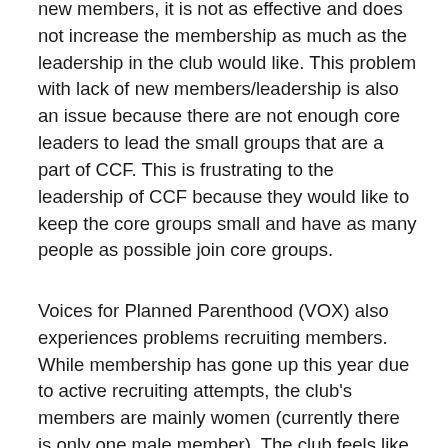new members, it is not as effective and does not increase the membership as much as the leadership in the club would like. This problem with lack of new members/leadership is also an issue because there are not enough core leaders to lead the small groups that are a part of CCF. This is frustrating to the leadership of CCF because they would like to keep the core groups small and have as many people as possible join core groups.
Voices for Planned Parenthood (VOX) also experiences problems recruiting members. While membership has gone up this year due to active recruiting attempts, the club's members are mainly women (currently there is only one male member). The club feels like there is a lack of men is an issue. This is mainly because Planned Parenthood and sexual health, the members feel, is for both men and women since it is about safe sex. The club feels that sometimes men seem uncomfortable talking